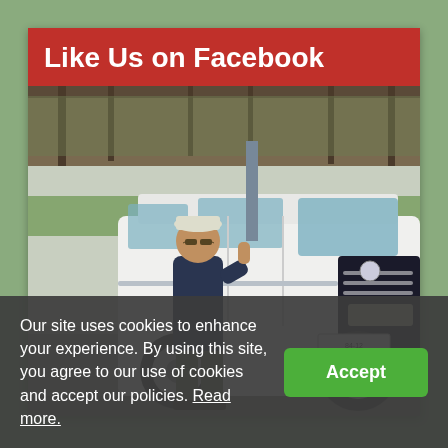Like Us on Facebook
[Figure (photo): A man in a dark jacket and cap giving a thumbs up, standing in front of a white Toyota Voxy/Noah minivan in a parking lot with trees and green fence in the background. Japanese license plate 84-12.]
Our site uses cookies to enhance your experience. By using this site, you agree to our use of cookies and accept our policies. Read more.